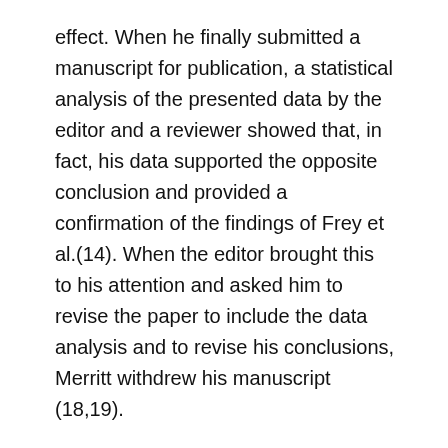effect. When he finally submitted a manuscript for publication, a statistical analysis of the presented data by the editor and a reviewer showed that, in fact, his data supported the opposite conclusion and provided a confirmation of the findings of Frey et al.(14). When the editor brought this to his attention and asked him to revise the paper to include the data analysis and to revise his conclusions, Merritt withdrew his manuscript (18,19).
Over a 2-year period, A.W. Guy et al. also made oral presentations in which they reported that they had replicated earlier work